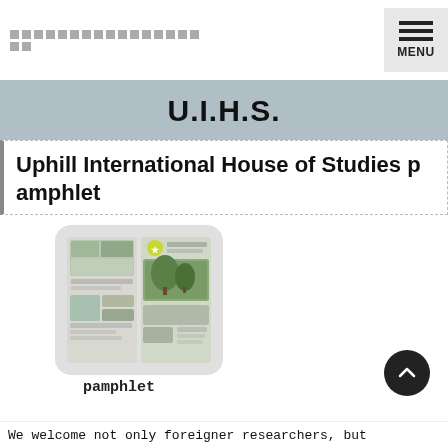□□□□□□□□□□□□□□□□□□
U.I.H.S.
Uphill International House of Studies pamphlet
[Figure (photo): Thumbnail image of a pamphlet showing photos of a building interior and exterior, labeled 'pamphlet']
pamphlet
We welcome not only foreigner researchers, but